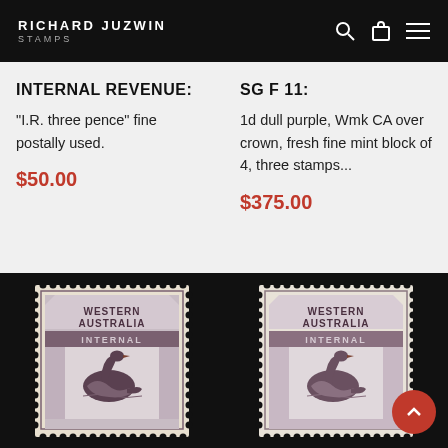RICHARD JUZWIN STAMPS
INTERNAL REVENUE:
"I.R. three pence" fine postally used.
$50.00
SG F 11:
1d dull purple, Wmk CA over crown, fresh fine mint block of 4, three stamps...
$375.00
[Figure (photo): Western Australia Internal Revenue stamp showing black swan, dull purple color, with perforations]
[Figure (photo): Western Australia Internal Revenue stamp showing black swan, dull purple color, with perforations, block of 4]